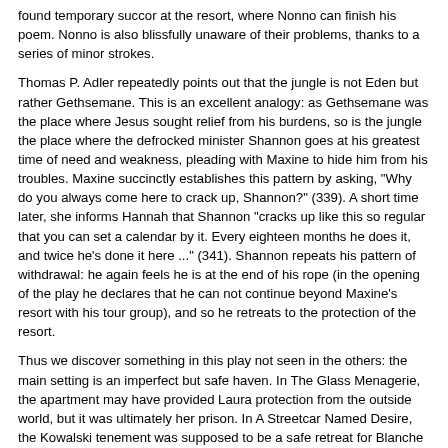found temporary succor at the resort, where Nonno can finish his poem. Nonno is also blissfully unaware of their problems, thanks to a series of minor strokes.
Thomas P. Adler repeatedly points out that the jungle is not Eden but rather Gethsemane. This is an excellent analogy: as Gethsemane was the place where Jesus sought relief from his burdens, so is the jungle the place where the defrocked minister Shannon goes at his greatest time of need and weakness, pleading with Maxine to hide him from his troubles. Maxine succinctly establishes this pattern by asking, "Why do you always come here to crack up, Shannon?" (339). A short time later, she informs Hannah that Shannon "cracks up like this so regular that you can set a calendar by it. Every eighteen months he does it, and twice he's done it here ..." (341). Shannon repeats his pattern of withdrawal: he again feels he is at the end of his rope (in the opening of the play he declares that he can not continue beyond Maxine's resort with his tour group), and so he retreats to the protection of the resort.
Thus we discover something in this play not seen in the others: the main setting is an imperfect but safe haven. In The Glass Menagerie, the apartment may have provided Laura protection from the outside world, but it was ultimately her prison. In A Streetcar Named Desire, the Kowalski tenement was supposed to be a safe retreat for Blanche but was instead her undoing. In Suddenly Last Summer, Catherine was never safe in the garden, at least during the time framed by the play. But in Iguana, the jungle is a sanctuary for Shannon and Hannah, and there is a possibility that it will continue as such even after the play's time frame. Finally, the characters in need have a place they can truly go to for help.
Characters and Models